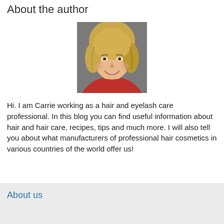About the author
[Figure (photo): Headshot photo of Carrie, a young woman with blonde hair, smiling, wearing a red top]
Hi. I am Carrie working as a hair and eyelash care professional. In this blog you can find useful information about hair and hair care, recipes, tips and much more. I will also tell you about what manufacturers of professional hair cosmetics in various countries of the world offer us!
About us